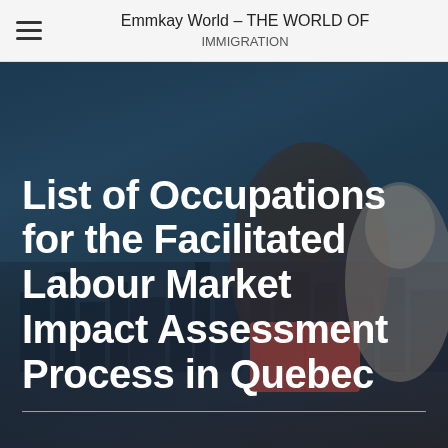Emmkay World – THE WORLD OF IMMIGRATION
[Figure (photo): Hero banner with a background photo showing two women reading a book or document, overlaid on a city skyline with dark blue/teal tones]
List of Occupations for the Facilitated Labour Market Impact Assessment Process in Quebec